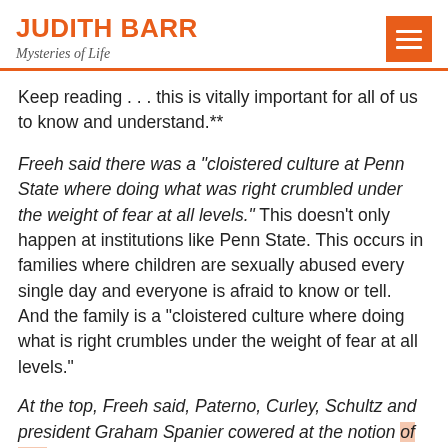JUDITH BARR
Mysteries of Life
Keep reading . . . this is vitally important for all of us to know and understand.**
Freeh said there was a "cloistered culture at Penn State where doing what was right crumbled under the weight of fear at all levels." This doesn't only happen at institutions like Penn State. This occurs in families where children are sexually abused every single day and everyone is afraid to know or tell. And the family is a "cloistered culture where doing what is right crumbles under the weight of fear at all levels."
At the top, Freeh said, Paterno, Curley, Schultz and president Graham Spanier cowered at the notion of bad publicity for the university and its heralded football